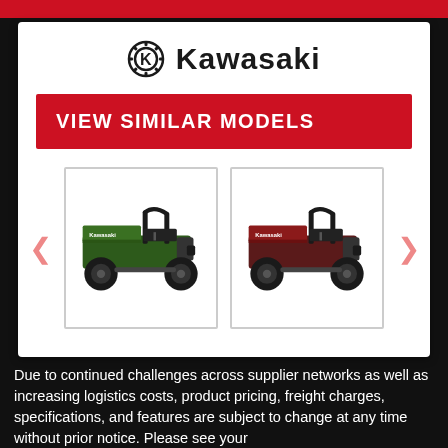[Figure (logo): Kawasaki logo with circular gear/K icon and bold Kawasaki wordmark]
VIEW SIMILAR MODELS
[Figure (photo): Two Kawasaki utility vehicles (UTVs) side by side — left one is green, right one is red/dark red — both are small dump-bed utility vehicles shown in profile view]
Due to continued challenges across supplier networks as well as increasing logistics costs, product pricing, freight charges, specifications, and features are subject to change at any time without prior notice. Please see your